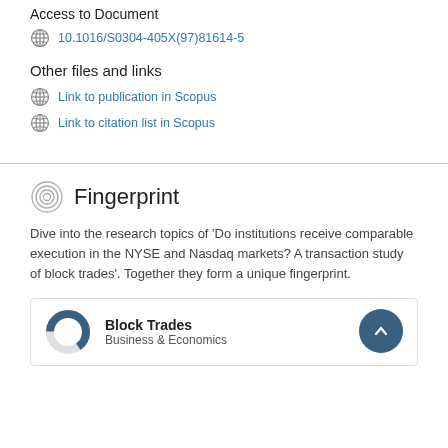Access to Document
10.1016/S0304-405X(97)81614-5
Other files and links
Link to publication in Scopus
Link to citation list in Scopus
Fingerprint
Dive into the research topics of 'Do institutions receive comparable execution in the NYSE and Nasdaq markets? A transaction study of block trades'. Together they form a unique fingerprint.
Block Trades
Business & Economics